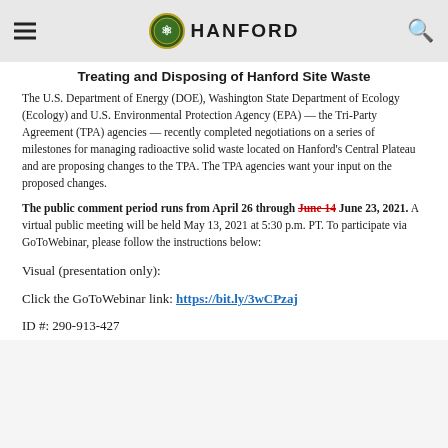Hanford
Treating and Disposing of Hanford Site Waste
The U.S. Department of Energy (DOE), Washington State Department of Ecology (Ecology) and U.S. Environmental Protection Agency (EPA) — the Tri-Party Agreement (TPA) agencies — recently completed negotiations on a series of milestones for managing radioactive solid waste located on Hanford's Central Plateau and are proposing changes to the TPA. The TPA agencies want your input on the proposed changes.
The public comment period runs from April 26 through June 14 June 23, 2021. A virtual public meeting will be held May 13, 2021 at 5:30 p.m. PT. To participate via GoToWebinar, please follow the instructions below:
Visual (presentation only):
Click the GoToWebinar link: https://bit.ly/3wCPzaj
ID #: 290-913-427